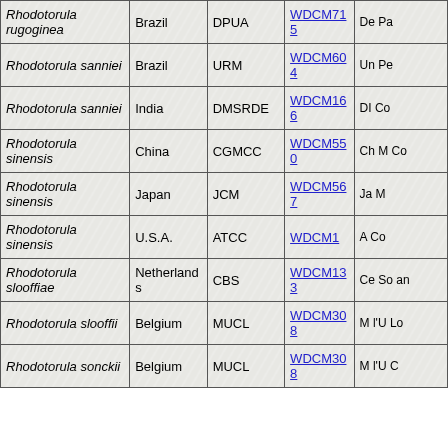| Species | Country | Collection | WDCM | Description |
| --- | --- | --- | --- | --- |
| Rhodotorula rugoginea | Brazil | DPUA | WDCM715 | De Pa |
| Rhodotorula sanniei | Brazil | URM | WDCM604 | Un Pe |
| Rhodotorula sanniei | India | DMSRDE | WDCM166 | DI Co |
| Rhodotorula sinensis | China | CGMCC | WDCM550 | Ch M Co |
| Rhodotorula sinensis | Japan | JCM | WDCM567 | Ja M |
| Rhodotorula sinensis | U.S.A. | ATCC | WDCM1 | A Co |
| Rhodotorula slooffiae | Netherlands | CBS | WDCM133 | Ce So an |
| Rhodotorula slooffii | Belgium | MUCL | WDCM308 | M l'U Lo |
| Rhodotorula sonckii | Belgium | MUCL | WDCM308 | M l'U C |